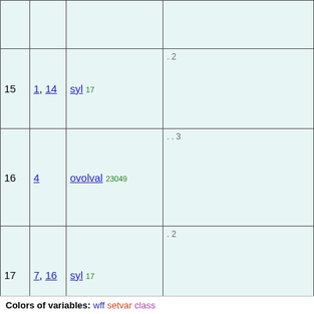|  |  |  |  |
| --- | --- | --- | --- |
|  |  |  |  |
| 15 | 1, 14 | syl 17 | . 2 |
| 16 | 4 | ovolval 23049 | . . 3 |
| 17 | 7, 16 | syl 17 | . 2 |
| 18 | 13,
15,
17 | 3eqtr4d 2654 | 1 |
Colors of variables: wff setvar class